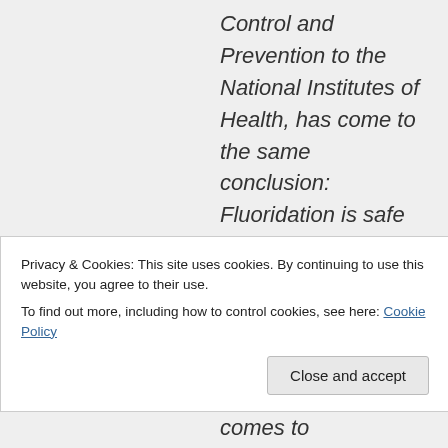Control and Prevention to the National Institutes of Health, has come to the same conclusion: Fluoridation is safe and
Privacy & Cookies: This site uses cookies. By continuing to use this website, you agree to their use. To find out more, including how to control cookies, see here: Cookie Policy
comes to